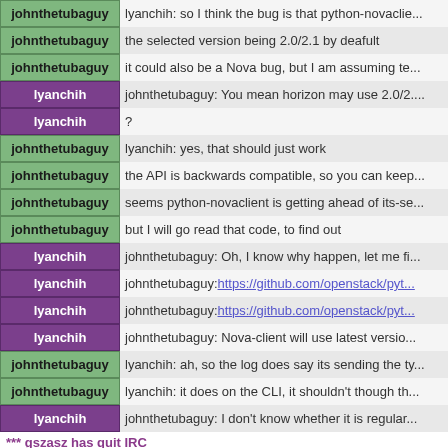johnthetubaguy: so I think the bug is that python-novaclie...
johnthetubaguy: the selected version being 2.0/2.1 by deafult
johnthetubaguy: it could also be a Nova bug, but I am assuming te...
lyanchih: johnthetubaguy: You mean horizon may use 2.0/2....
lyanchih: ?
johnthetubaguy: lyanchih: yes, that should just work
johnthetubaguy: the API is backwards compatible, so you can keep...
johnthetubaguy: seems python-novaclient is getting ahead of its-se...
johnthetubaguy: but I will go read that code, to find out
lyanchih: johnthetubaguy: Oh, I know why happen, let me fi...
lyanchih: johnthetubaguy: https://github.com/openstack/pyt...
lyanchih: johnthetubaguy: https://github.com/openstack/pyt...
lyanchih: johnthetubaguy: Nova-client will use latest versio...
johnthetubaguy: lyanchih: ah, so the log does say its sending the ty...
johnthetubaguy: lyanchih: it does on the CLI, it shouldn't though th...
lyanchih: johnthetubaguy: I don't know whether it is regular...
*** gszasz has quit IRC
*** salv-orlando has quit IRC
*** Jeffrey4l has joined #openstack-nova
johnthetubaguy: lyanchih: so the key bit is you should have not bee...
lyanchih: johnthetubaguy: Besides nova CLI will use latest n...